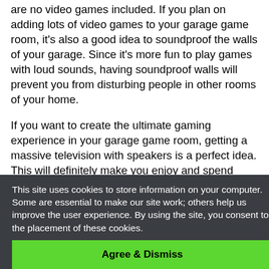are no video games included. If you plan on adding lots of video games to your garage game room, it's also a good idea to soundproof the walls of your garage. Since it's more fun to play games with loud sounds, having soundproof walls will prevent you from disturbing people in other rooms of your home.
If you want to create the ultimate gaming experience in your garage game room, getting a massive television with speakers is a perfect idea. This will definitely make you enjoy and spend hours playing video games in the garage.
This site uses cookies to store information on your computer. Some are essential to make our site work; others help us improve the user experience. By using the site, you consent to the placement of these cookies.
Agree & Dismiss
also also offer fun games and can make your garage look cool. It